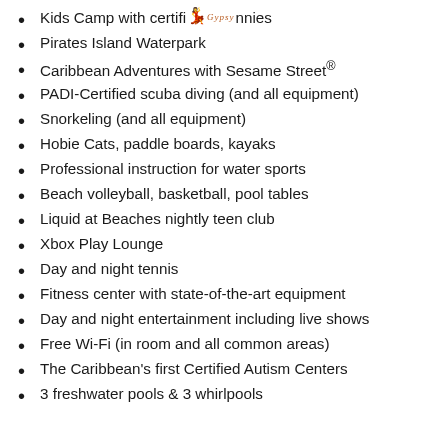Kids Camp with certified nannies
Pirates Island Waterpark
Caribbean Adventures with Sesame Street®
PADI-Certified scuba diving (and all equipment)
Snorkeling (and all equipment)
Hobie Cats, paddle boards, kayaks
Professional instruction for water sports
Beach volleyball, basketball, pool tables
Liquid at Beaches nightly teen club
Xbox Play Lounge
Day and night tennis
Fitness center with state-of-the-art equipment
Day and night entertainment including live shows
Free Wi-Fi (in room and all common areas)
The Caribbean's first Certified Autism Centers
3 freshwater pools & 3 whirlpools